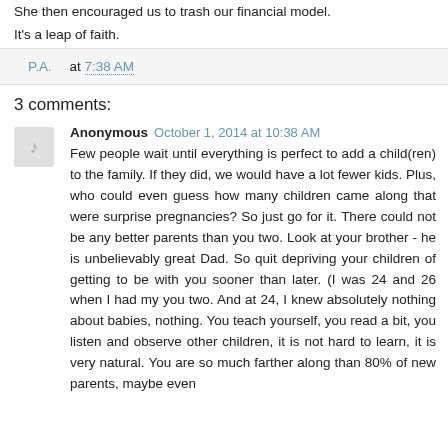She then encouraged us to trash our financial model.
It's a leap of faith.
P.A. at 7:38 AM
3 comments:
Anonymous October 1, 2014 at 10:38 AM
Few people wait until everything is perfect to add a child(ren) to the family. If they did, we would have a lot fewer kids. Plus, who could even guess how many children came along that were surprise pregnancies? So just go for it. There could not be any better parents than you two. Look at your brother - he is unbelievably great Dad. So quit depriving your children of getting to be with you sooner than later. (I was 24 and 26 when I had my you two. And at 24, I knew absolutely nothing about babies, nothing. You teach yourself, you read a bit, you listen and observe other children, it is not hard to learn, it is very natural. You are so much farther along than 80% of new parents, maybe even more.